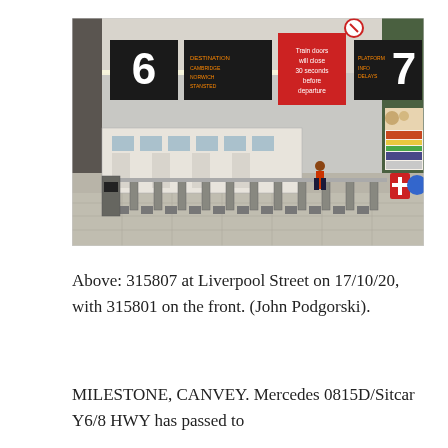[Figure (photo): Interior of Liverpool Street station showing ticket barriers, platform signs displaying numbers 6 and 7, departure boards with orange LED text, a train at the platform, and various station signs including a red sign reading 'Train doors will close 30 seconds before departure'.]
Above: 315807 at Liverpool Street on 17/10/20, with 315801 on the front. (John Podgorski).
MILESTONE, CANVEY. Mercedes 0815D/Sitcar Y6/8 HWY has passed to